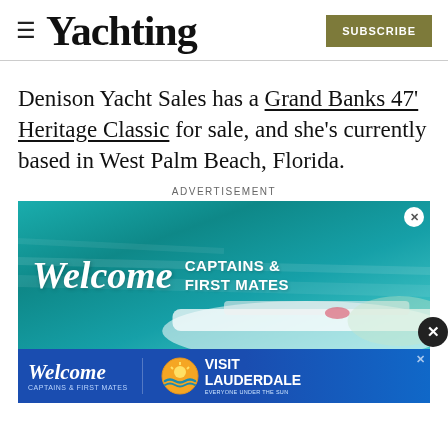Yachting
Denison Yacht Sales has a Grand Banks 47' Heritage Classic for sale, and she's currently based in West Palm Beach, Florida.
ADVERTISEMENT
[Figure (infographic): Advertisement banner with teal/aqua ocean background showing a boat aerial view. Text reads 'Welcome CAPTAINS & FIRST MATES' in white. Has an X close button in top right.]
[Figure (infographic): Bottom advertisement bar with blue background. Left side shows 'Welcome CAPTAINS & FIRST MATES' text in white. Right side shows Visit Lauderdale logo with sun icon and text 'VISIT LAUDERDALE EVERYONE UNDER THE SUN'. Has X close button.]